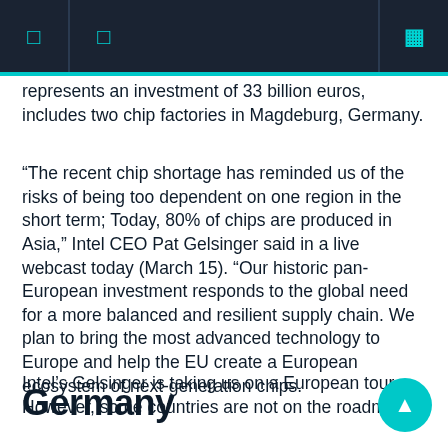represents an investment of 33 billion euros, includes two chip factories in Magdeburg, Germany.
“The recent chip shortage has reminded us of the risks of being too dependent on one region in the short term; Today, 80% of chips are produced in Asia,” Intel CEO Pat Gelsinger said in a live webcast today (March 15). “Our historic pan-European investment responds to the global need for a more balanced and resilient supply chain. We plan to bring the most advanced technology to Europe and help the EU create a European ecosystem of next-generation chips.
Intel’s Gelsinger is taking us on a European tour. However, some countries are not on the roadmap.
Germany